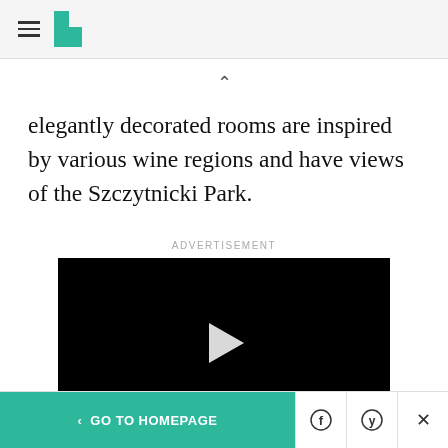HuffPost navigation header with hamburger menu and logo
elegantly decorated rooms are inspired by various wine regions and have views of the Szczytnicki Park.
ADVERTISEMENT
[Figure (screenshot): Black video player with white play button triangle in center]
< GO TO HOMEPAGE | Facebook share | Twitter share | Close